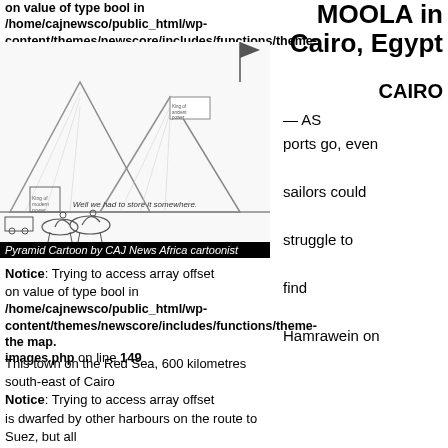on value of type bool in /home/cajnewsco/public_html/wp-content/themes/newscore/includes/functions/theme-images.php on line 150
[Figure (illustration): Cartoon illustration of Egyptian pyramids with camels and figures in the desert, labeled 'Well we had to store it somewhere.' Pyramid Cartoon by CAJ News Africa cartoonist]
Pyramid Cartoon by CAJ News Africa cartoonist
Notice: Trying to access array offset on value of type bool in /home/cajnewsco/public_html/wp-content/themes/newscore/includes/functions/theme-images.php on line 149
MOOLA in Cairo, Egypt
CAIRO — AS ports go, even sailors could struggle to find Hamrawein on the map.
This town on the Red Sea, 600 kilometres south-east of Cairo is dwarfed by other harbours on the route to Suez, but all that will change over the next six years as Egypt builds the world's largest clean-coal plant.
Notice: Trying to access array offset on value of type bool in /home/cajnewsco/public_html/wp-content/themes/newscore/includes/functions/theme-images.php on line 150
A Chinese conglomerate beat the US General Electric and a Japanese firm for a $4.4bn project at Hamrawein that will
Notice: Trying to access array offset